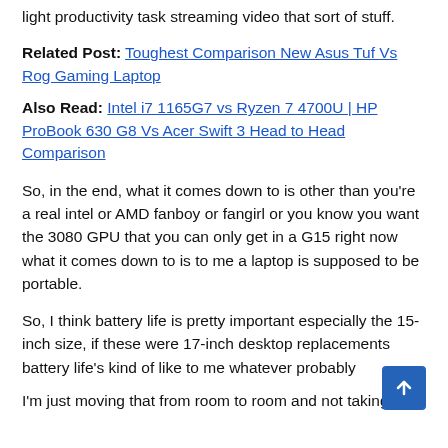light productivity task streaming video that sort of stuff.
Related Post: Toughest Comparison New Asus Tuf Vs Rog Gaming Laptop
Also Read: Intel i7 1165G7 vs Ryzen 7 4700U | HP ProBook 630 G8 Vs Acer Swift 3 Head to Head Comparison
So, in the end, what it comes down to is other than you're a real intel or AMD fanboy or fangirl or you know you want the 3080 GPU that you can only get in a G15 right now what it comes down to is to me a laptop is supposed to be portable.
So, I think battery life is pretty important especially the 15-inch size, if these were 17-inch desktop replacements battery life's kind of like to me whatever probably
I'm just moving that from room to room and not taking it